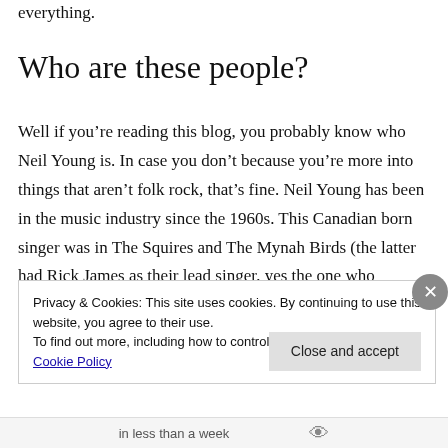everything.
Who are these people?
Well if you’re reading this blog, you probably know who Neil Young is. In case you don’t because you’re more into things that aren’t folk rock, that’s fine. Neil Young has been in the music industry since the 1960s. This Canadian born singer was in The Squires and The Mynah Birds (the latter had Rick James as their lead singer, yes the one who became famous with “Super
Privacy & Cookies: This site uses cookies. By continuing to use this website, you agree to their use.
To find out more, including how to control cookies, see here: Cookie Policy
Close and accept
in less than a week